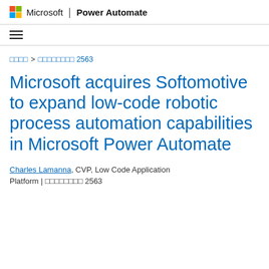Microsoft | Power Automate
breadcrumb navigation with hamburger menu
□□□□ > □□□□□□□□ 2563
Microsoft acquires Softomotive to expand low-code robotic process automation capabilities in Microsoft Power Automate
Charles Lamanna, CVP, Low Code Application Platform | □□□□□□□□ 2563